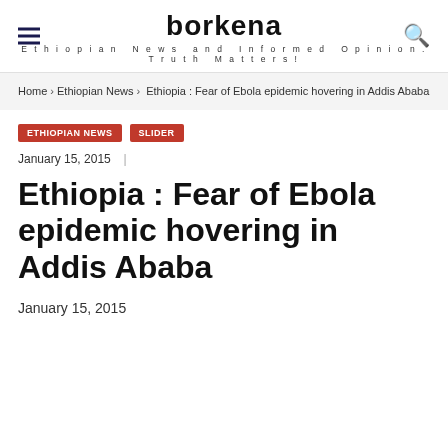borkena
Ethiopian News and Informed Opinion. Truth Matters!
Home › Ethiopian News › Ethiopia : Fear of Ebola epidemic hovering in Addis Ababa
ETHIOPIAN NEWS   SLIDER
January 15, 2015  |
Ethiopia : Fear of Ebola epidemic hovering in Addis Ababa
January 15, 2015